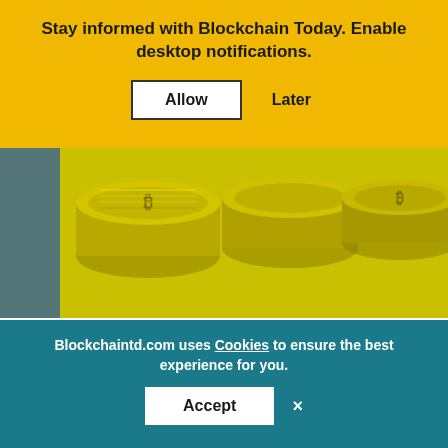Stay informed with Blockchain Today. Enable desktop notifications.
Allow    Later
[Figure (photo): Photograph of stacked gold/yellow cryptocurrency coins (Bitcoin) on a yellow background, resembling Ukrainian flag colors.]
Ukraine adopted FATF rules for crypto market regulation
NOVEMBER 06, 2019 BY BLOCKTIAN
The deputies of the Verkhovna Rada adopted in the 1st reading a draft law on the implementation of FATF standards to combat money laundering and the financing of terrorism while regulating the crypto market. This was announced by the chairman of the
Blockchaintd.com uses Cookies to ensure the best experience for you.
Accept   ×